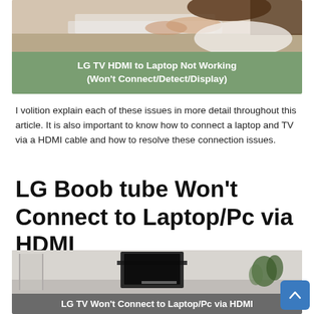[Figure (photo): Banner image showing a woman using a laptop on top, with a green background overlay at the bottom containing white bold text: 'LG TV HDMI to Laptop Not Working (Won't Connect/Detect/Display)']
I volition explain each of these issues in more detail throughout this article. It is also important to know how to connect a laptop and TV via a HDMI cable and how to resolve these connection issues.
LG Boob tube Won't Connect to Laptop/Pc via HDMI
[Figure (photo): Photo of a living room with a TV and laptop setup, with text overlay at the bottom: 'LG TV Won't Connect to Laptop/Pc via HDMI']